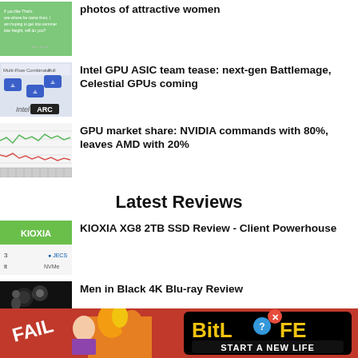photos of attractive women
Intel GPU ASIC team tease: next-gen Battlemage, Celestial GPUs coming
GPU market share: NVIDIA commands with 80%, leaves AMD with 20%
Latest Reviews
KIOXIA XG8 2TB SSD Review - Client Powerhouse
Men in Black 4K Blu-ray Review
[Figure (infographic): BitLife advertisement banner with FAIL text, anime girl, fire, and START A NEW LIFE text]